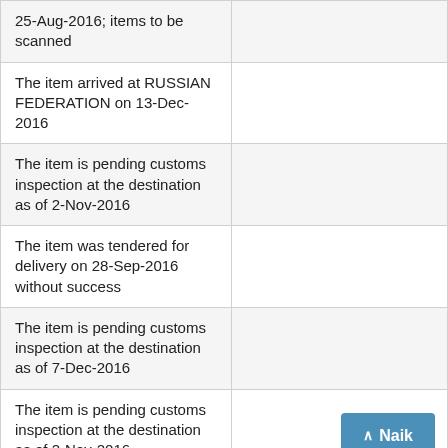| 25-Aug-2016; items to be scanned |  |
| The item arrived at RUSSIAN FEDERATION on 13-Dec-2016 |  |
| The item is pending customs inspection at the destination as of 2-Nov-2016 |  |
| The item was tendered for delivery on 28-Sep-2016 without success |  |
| The item is pending customs inspection at the destination as of 7-Dec-2016 |  |
| The item is pending customs inspection at the destination as of 2-Nov-2016 |  |